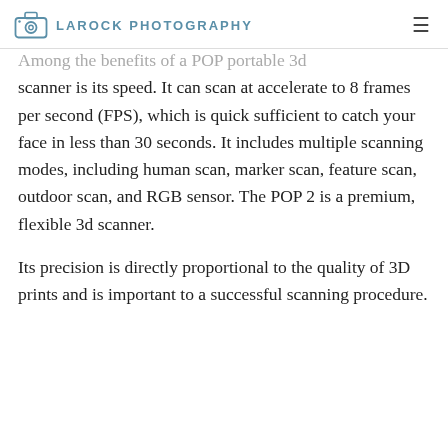LAROCK PHOTOGRAPHY
Among the benefits of a POP portable 3d scanner is its speed. It can scan at accelerate to 8 frames per second (FPS), which is quick sufficient to catch your face in less than 30 seconds. It includes multiple scanning modes, including human scan, marker scan, feature scan, outdoor scan, and RGB sensor. The POP 2 is a premium, flexible 3d scanner.
Its precision is directly proportional to the quality of 3D prints and is important to a successful scanning procedure.